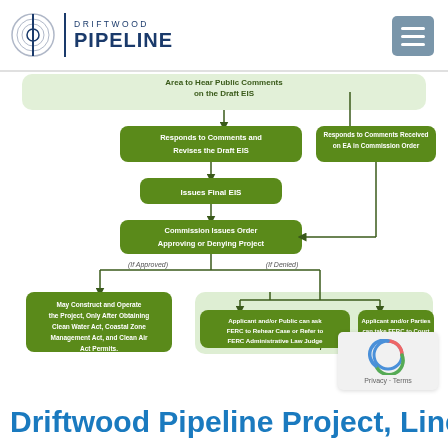[Figure (logo): Driftwood Pipeline logo with circular icon and text]
[Figure (flowchart): FERC NEPA review process flowchart showing steps from public comments on Draft EIS through Commission approval/denial, with branches for if approved (construct and operate) and if denied (rehear or take to court). Includes 'Public Input Opportunities' grouping box.]
Driftwood Pipeline Project, Line